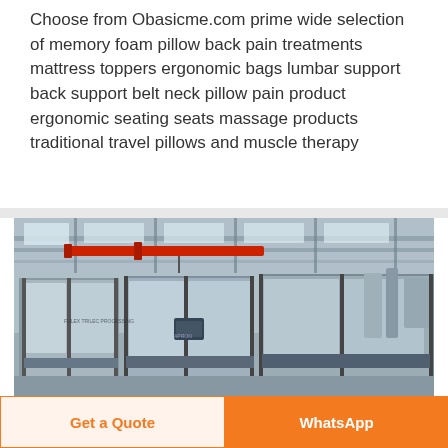Choose from Obasicme.com prime wide selection of memory foam pillow back pain treatments mattress toppers ergonomic bags lumbar support back support belt neck pillow pain product ergonomic seating seats massage products traditional travel pillows and muscle therapy
[Figure (photo): Industrial manufacturing facility interior showing large bottling/filling machinery with glass enclosures, a red overhead crane/hoist system, steel-frame roof with skylights, and multiple processing units on the factory floor.]
Get a Quote
WhatsApp